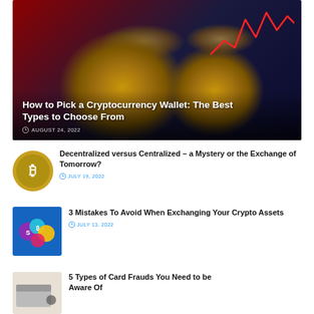[Figure (photo): Hero image showing gold Bitcoin coins, stacks of US dollar bills, and a red stock market chart line in the background with blue financial data displays. Article title overlay: 'How to Pick a Cryptocurrency Wallet: The Best Types to Choose From', dated August 24, 2022.]
How to Pick a Cryptocurrency Wallet: The Best Types to Choose From
AUGUST 24, 2022
[Figure (photo): Small circular thumbnail of a gold Bitcoin coin on a dark background.]
Decentralized versus Centralized – a Mystery or the Exchange of Tomorrow?
JULY 19, 2022
[Figure (photo): Thumbnail image showing various cryptocurrency coin tokens on a blue background.]
3 Mistakes To Avoid When Exchanging Your Crypto Assets
JULY 13, 2022
[Figure (photo): Thumbnail image showing a person's hands at a keyboard or ATM, partially visible.]
5 Types of Card Frauds You Need to be Aware Of